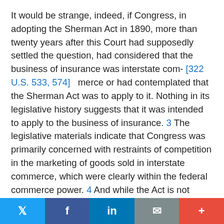It would be strange, indeed, if Congress, in adopting the Sherman Act in 1890, more than twenty years after this Court had supposedly settled the question, had considered that the business of insurance was interstate com- [322 U.S. 533, 574] merce or had contemplated that the Sherman Act was to apply to it. Nothing in its legislative history suggests that it was intended to apply to the business of insurance. 3 The legislative materials indicate that Congress was primarily concerned with restraints of competition in the marketing of goods sold in interstate commerce, which were clearly within the federal commerce power. 4 And while the Act is not limited to restraints of commerce in physical goods, see, e.g., Atlantic Cleaners & Dyers v. United States, 286 U.S. 427 , 52 S.Ct. 607, there is no reason to suppose that Congress intended the Act to apply to matters in which, under prevailing decisions of this Court, commerce was not
Twitter | Facebook | LinkedIn | Email | +